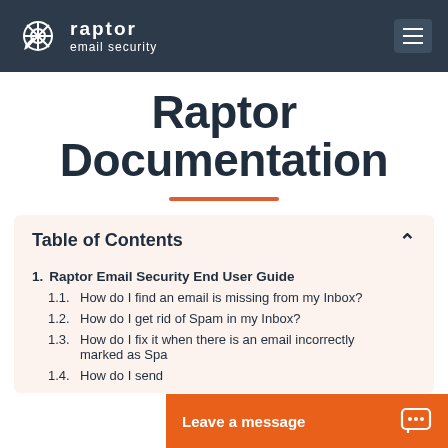Raptor email security
Raptor Documentation
Table of Contents
1. Raptor Email Security End User Guide
1.1. How do I find an email is missing from my Inbox?
1.2. How do I get rid of Spam in my Inbox?
1.3. How do I fix it when there is an email incorrectly marked as Spam?
1.4. How do I send…